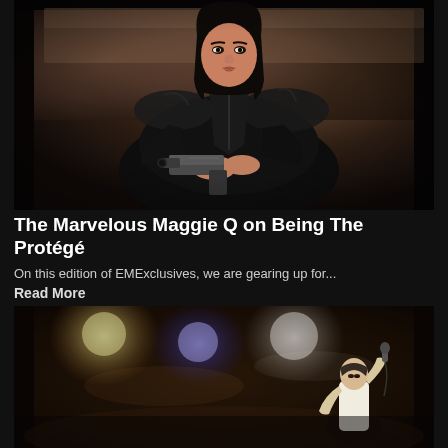[Figure (photo): A woman with black hair wearing a black leather jacket, pointing a handgun at the camera. Background is a brownish indoor setting.]
The Marvelous Maggie Q on Being The Protégé
On this edition of EMExclusives, we are gearing up for...
Read More
[Figure (photo): A performer on stage under bright stage lights including blue and white lights, appearing to sing or perform with microphone, smoky atmosphere.]